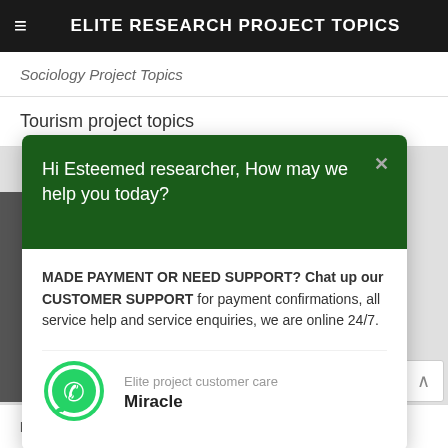ELITE RESEARCH PROJECT TOPICS
Sociology Project Topics
Tourism project topics
Hi Esteemed researcher, How may we help you today?
MADE PAYMENT OR NEED SUPPORT? Chat up our CUSTOMER SUPPORT for payment confirmations, all service help and service enquiries, we are online 24/7.
Elite project customer care
Miracle
eliteproject.com.ng
FOLLOW US ON INSTAGRAM